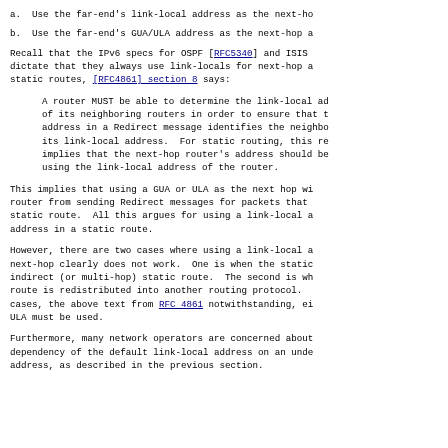a.  Use the far-end's link-local address as the next-ho
b.  Use the far-end's GUA/ULA address as the next-hop a
Recall that the IPv6 specs for OSPF [RFC5340] and ISIS dictate that they always use link-locals for next-hop a static routes, [RFC4861] section 8 says:
A router MUST be able to determine the link-local ad of its neighboring routers in order to ensure that t address in a Redirect message identifies the neighbo its link-local address.  For static routing, this re implies that the next-hop router's address should be using the link-local address of the router.
This implies that using a GUA or ULA as the next hop wi router from sending Redirect messages for packets that static route.  All this argues for using a link-local a address in a static route.
However, there are two cases where using a link-local a next-hop clearly does not work.  One is when the static indirect (or multi-hop) static route.  The second is wh route is redistributed into another routing protocol. cases, the above text from RFC 4861 notwithstanding, ei ULA must be used.
Furthermore, many network operators are concerned about dependency of the default link-local address on an unde address, as described in the previous section.